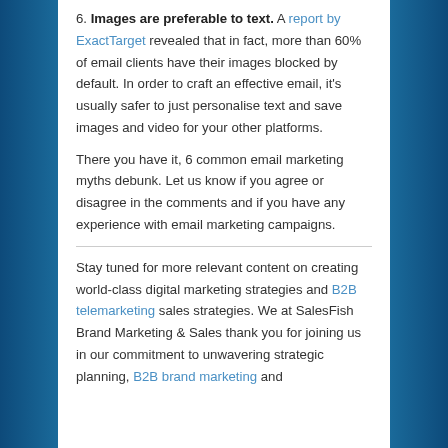6. Images are preferable to text. A report by ExactTarget revealed that in fact, more than 60% of email clients have their images blocked by default. In order to craft an effective email, it's usually safer to just personalise text and save images and video for your other platforms.
There you have it, 6 common email marketing myths debunk. Let us know if you agree or disagree in the comments and if you have any experience with email marketing campaigns.
Stay tuned for more relevant content on creating world-class digital marketing strategies and B2B telemarketing sales strategies. We at SalesFish Brand Marketing & Sales thank you for joining us in our commitment to unwavering strategic planning, B2B brand marketing and